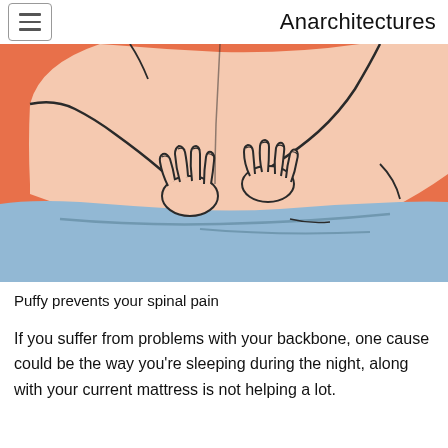Anarchitectures
[Figure (illustration): Illustration of a person's lower back/torso area with two hands pressing on the lower back area, suggesting back pain. The background is orange/coral colored, the person wears a blue garment at the bottom, and the skin is drawn in a cartoon/comic style.]
Puffy prevents your spinal pain
If you suffer from problems with your backbone, one cause could be the way you’re sleeping during the night, along with your current mattress is not helping a lot.